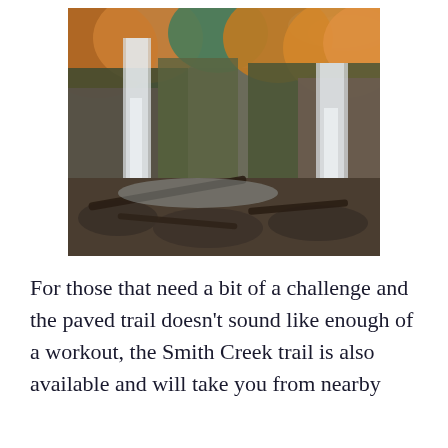[Figure (photo): A landscape photograph of twin waterfalls cascading down rocky cliffs surrounded by autumn foliage — orange and brown trees frame the scene. Fallen logs and rocks are visible in the foreground at the base of the falls.]
For those that need a bit of a challenge and the paved trail doesn't sound like enough of a workout, the Smith Creek trail is also available and will take you from nearby